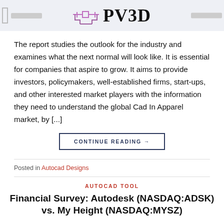PV3D
The report studies the outlook for the industry and examines what the next normal will look like. It is essential for companies that aspire to grow. It aims to provide investors, policymakers, well-established firms, start-ups, and other interested market players with the information they need to understand the global Cad In Apparel market, by [...]
CONTINUE READING →
Posted in Autocad Designs
AUTOCAD TOOL
Financial Survey: Autodesk (NASDAQ:ADSK) vs. My Height (NASDAQ:MYSZ)